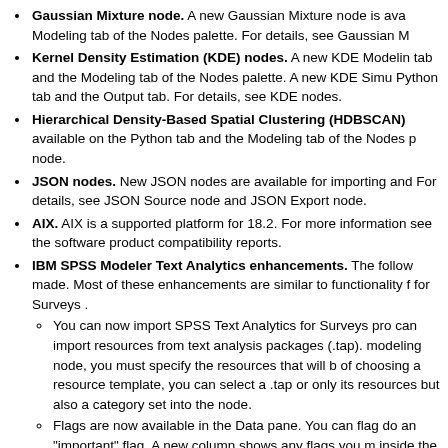Gaussian Mixture node. A new Gaussian Mixture node is available on the Modeling tab of the Nodes palette. For details, see Gaussian M...
Kernel Density Estimation (KDE) nodes. A new KDE Modeling node is available in the tab and the Modeling tab of the Nodes palette. A new KDE Simulation node is on the Python tab and the Output tab. For details, see KDE nodes.
Hierarchical Density-Based Spatial Clustering (HDBSCAN) node is available on the Python tab and the Modeling tab of the Nodes palette. For details, see HDBSCAN node.
JSON nodes. New JSON nodes are available for importing and exporting. For details, see JSON Source node and JSON Export node.
AIX. AIX is a supported platform for 18.2. For more information, see the software product compatibility reports.
IBM SPSS Modeler Text Analytics enhancements. The following enhancements have been made. Most of these enhancements are similar to functionality found in SPSS Text Analytics for Surveys.
You can now import SPSS Text Analytics for Surveys projects. You can import resources from text analysis packages (.tap). When you open the Text Mining modeling node, you must specify the resources that will be used. Now, instead of choosing a resource template, you can select a .tap or .tas file to load not only its resources but also a category set into the node.
Flags are now available in the Data pane. You can flag documents with an "important" flag. A new column shows any flags you made. You can click inside the column to change the flag type. This is useful for building a category model. See Flagging responses.
Extracted concept results have been improved (they're now similar to the results in SPSS Text Analytics for Surveys)
Empty records are now handled the same was as they are in SPSS Text Analytics for Surveys. For example, with an Excel source file, empty r...